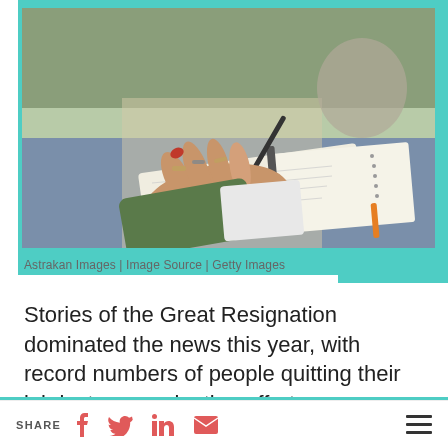[Figure (photo): A person with rings on their fingers writing in a notebook on a blue desk surface, wearing a green jacket, with a cat visible in the background.]
Astrakan Images | Image Source | Getty Images
Stories of the Great Resignation dominated the news this year, with record numbers of people quitting their job just as vaccination efforts